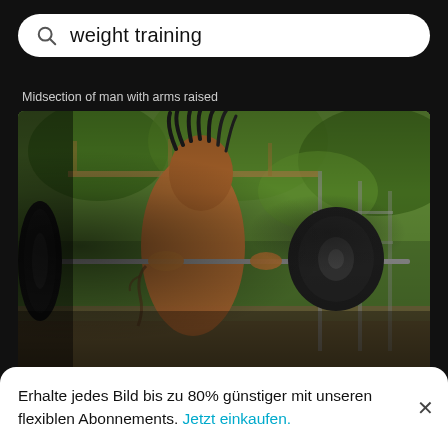weight training
Midsection of man with arms raised
[Figure (photo): Shirtless young man with dreadlocks holding a barbell with weight plates at an outdoor gym, surrounded by trees and metal frame structures]
Shirtless young man holding barbell outdoors
Erhalte jedes Bild bis zu 80% günstiger mit unseren flexiblen Abonnements. Jetzt einkaufen.